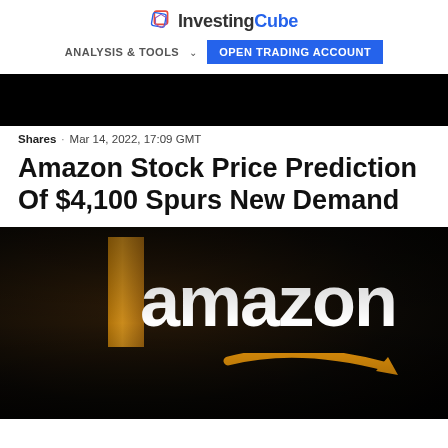InvestingCube — ANALYSIS & TOOLS | OPEN TRADING ACCOUNT
[Figure (photo): Dark/black hero banner image at top of page]
Shares · Mar 14, 2022, 17:09 GMT
Amazon Stock Price Prediction Of $4,100 Spurs New Demand
[Figure (photo): Night photograph of an illuminated Amazon logo sign (white letters with orange smile arrow) against a dark background, with partial view of an architectural structure]